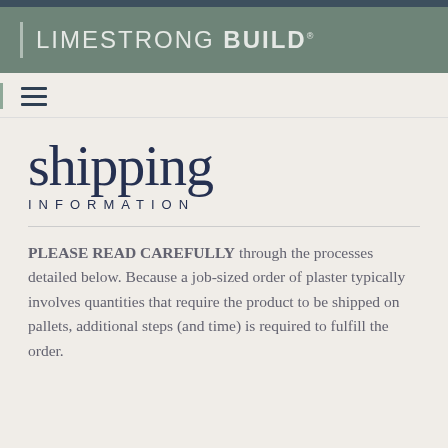LIMESTRONG BUILD
[Figure (logo): Hamburger menu icon with three horizontal lines]
shipping INFORMATION
PLEASE READ CAREFULLY through the processes detailed below. Because a job-sized order of plaster typically involves quantities that require the product to be shipped on pallets, additional steps (and time) is required to fulfill the order.